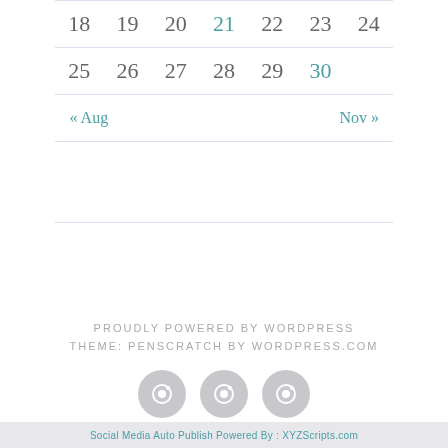| 18 | 19 | 20 | 21 | 22 | 23 | 24 |
| 25 | 26 | 27 | 28 | 29 | 30 |  |
« Aug
Nov »
PROUDLY POWERED BY WORDPRESS
THEME: PENSCRATCH BY WORDPRESS.COM
[Figure (other): Three circular social media icon buttons in gray]
Social Media Auto Publish Powered By : XYZScripts.com